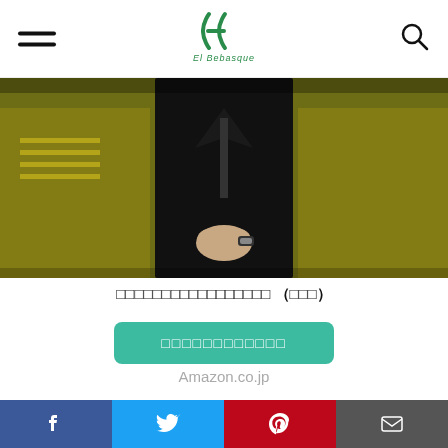El Bebasque logo and navigation
[Figure (photo): A person in a black suit with hands clasped, surrounded by people in yellow-tinted crowd]
□□□□□□□□□□□□□□□□□ (□□□)
□□□□□□□□□□□□
Amazon.co.jp
[Figure (other): Gray advertisement placeholder block]
Social share bar: Facebook, Twitter, Pinterest, Mail